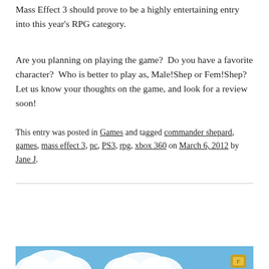Mass Effect 3 should prove to be a highly entertaining entry into this year's RPG category.
Are you planning on playing the game?  Do you have a favorite character?  Who is better to play as, Male!Shep or Fem!Shep?  Let us know your thoughts on the game, and look for a review soon!
This entry was posted in Games and tagged commander shepard, games, mass effect 3, pc, PS3, rpg, xbox 360 on March 6, 2012 by Jane J.
[Figure (photo): Bottom portion of a blue-background image showing white cloud-like shapes and a small yellow/gold icon in the lower right corner]